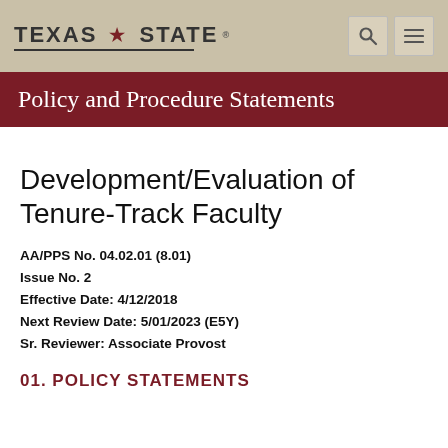TEXAS STATE — Policy and Procedure Statements
Development/Evaluation of Tenure-Track Faculty
AA/PPS No. 04.02.01 (8.01)
Issue No. 2
Effective Date: 4/12/2018
Next Review Date: 5/01/2023 (E5Y)
Sr. Reviewer: Associate Provost
01. POLICY STATEMENTS